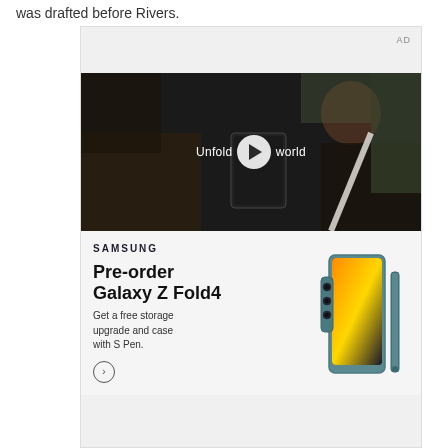was drafted before Rivers.
[Figure (screenshot): Samsung advertisement showing a video player with 'Unfold world' text and play button overlaid on a dark image of a woman holding a Samsung Galaxy Z Fold4 phone in a car. Below the video is a Samsung ad with text: SAMSUNG, Pre-order Galaxy Z Fold4, Get a free storage upgrade and case with S Pen. An image of the Galaxy Z Fold4 phone appears on the right side. An 'AD' label appears at the top right of the ad container.]